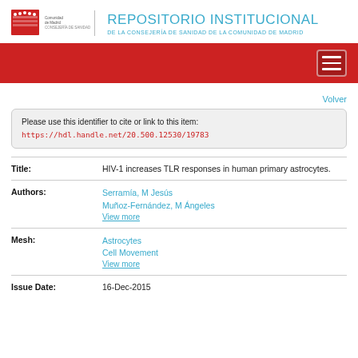[Figure (logo): Logo of Comunidad de Madrid, Consejería de Sanidad — red emblem with crown and bars, plus text]
REPOSITORIO INSTITUCIONAL
DE LA CONSEJERÍA DE SANIDAD DE LA COMUNIDAD DE MADRID
Please use this identifier to cite or link to this item:
https://hdl.handle.net/20.500.12530/19783
Volver
| Field | Value |
| --- | --- |
| Title: | HIV-1 increases TLR responses in human primary astrocytes. |
| Authors: | Serramía, M Jesús
Muñoz-Fernández, M Ángeles
View more |
| Mesh: | Astrocytes
Cell Movement
View more |
| Issue Date: | 16-Dec-2015 |